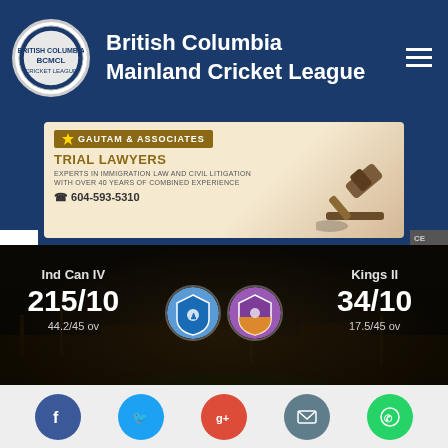British Columbia Mainland Cricket League
[Figure (screenshot): Gautam & Associates Trial Lawyers advertisement banner with gavel image. Phone: 604-593-5310]
Ind Can IV 215/10 44.2/45 ov | Kings II 34/10 17.5/45 ov
2022 Regular season- Eighth Division: League - Ind Can IV won by 181 Run(s) (06/19/2022)
[Figure (infographic): Social media icons footer: Facebook, Twitter, Google+, Email, WhatsApp]